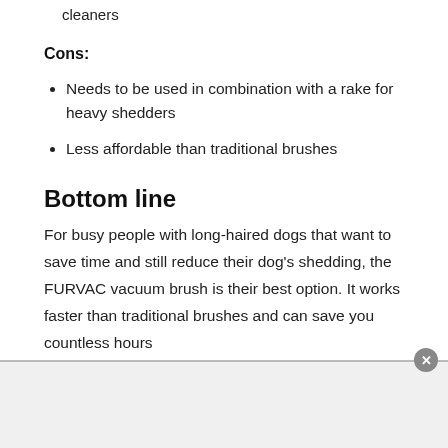cleaners
Cons:
Needs to be used in combination with a rake for heavy shedders
Less affordable than traditional brushes
Bottom line
For busy people with long-haired dogs that want to save time and still reduce their dog's shedding, the FURVAC vacuum brush is their best option. It works faster than traditional brushes and can save you countless hours